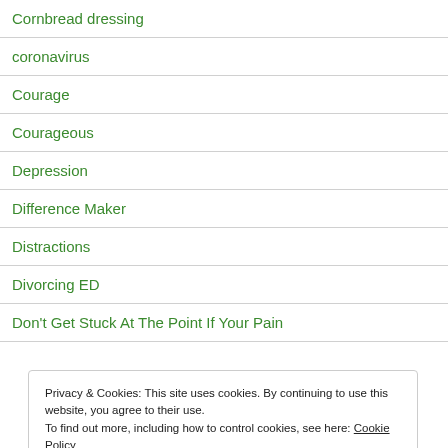Cornbread dressing
coronavirus
Courage
Courageous
Depression
Difference Maker
Distractions
Divorcing ED
Don't Get Stuck At The Point If Your Pain
Privacy & Cookies: This site uses cookies. By continuing to use this website, you agree to their use. To find out more, including how to control cookies, see here: Cookie Policy
Close and accept